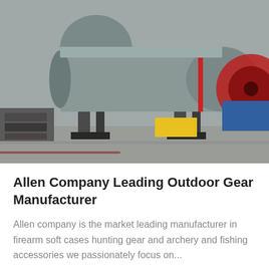[Figure (photo): Industrial ball mill machinery on a concrete yard, grey cylinder tank with red wheel visible on the right, yellow and blue objects in background]
Allen Company Leading Outdoor Gear Manufacturer
Allen company is the market leading manufacturer in firearm soft cases hunting gear and archery and fishing accessories we passionately focus on...
[Figure (photo): Bottom strip showing a dark semi-transparent bar with Leave Message on left and Chat Online on right, a circular avatar of a woman with headset in the center, and a back-to-top arrow button in top right corner]